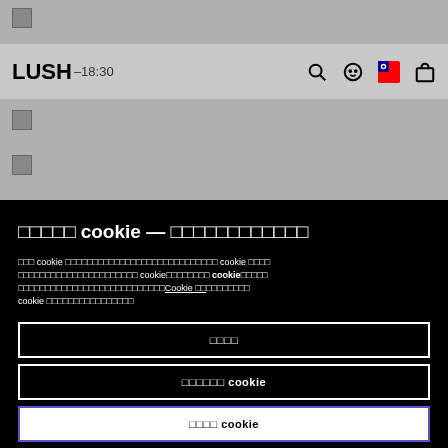LUSH –18:30
□□□□□ cookie — □□□□□□□□□□□□
□□□ cookie □□□□□□□□□□□□□□□□□□□□□□□□□□□□ cookie □□□□ □□□□□□□□□□□□□□□□□□□□□□ cookie□□□□□□□□ cookie□□□□□ □□□□□□□□□□□□□□□□□□□□□□□□□Cookie □□□□□□□□□ cookie □□□□□□□□□□□□□□□□
□□□□
□□□□□□ cookie
□□□□ cookie